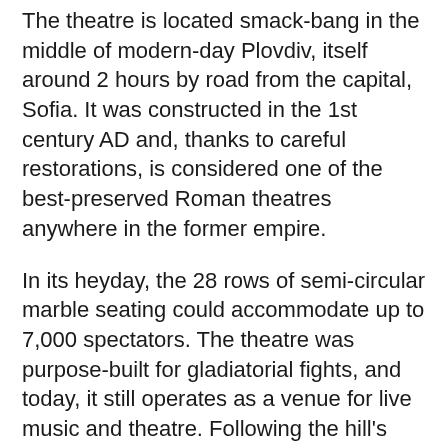The theatre is located smack-bang in the middle of modern-day Plovdiv, itself around 2 hours by road from the capital, Sofia. It was constructed in the 1st century AD and, thanks to careful restorations, is considered one of the best-preserved Roman theatres anywhere in the former empire.
In its heyday, the 28 rows of semi-circular marble seating could accommodate up to 7,000 spectators. The theatre was purpose-built for gladiatorial fights, and today, it still operates as a venue for live music and theatre. Following the hill's natural form, the lower part of the complex features a stage with ornate pediments, porticoes, Ionic columns, and several noteworthy Byzantine and Greek inscriptions.